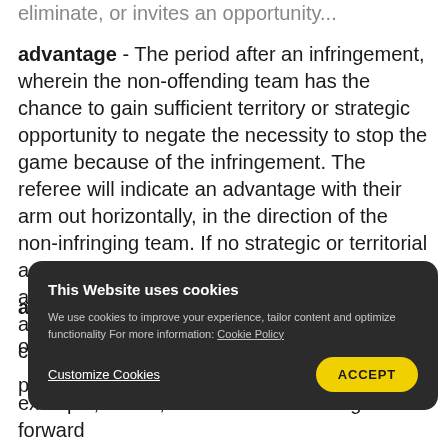...eliminate, or invites an opportunity...
advantage - The period after an infringement, wherein the non-offending team has the chance to gain sufficient territory or strategic opportunity to negate the necessity to stop the game because of the infringement. The referee will indicate an advantage with their arm out horizontally, in the direction of the non-infringing team. If no strategic or territorial advantage is earned, the referee will whistle, and give the result that had been delayed. If adequate advantage is earned, the referee will call "a..." ...example, a ruck, maul or scrum. Going forward
[Figure (screenshot): Cookie consent modal overlay on dark background with title 'This Website uses cookies', description text about cookies usage with Cookie Policy link, Customize Cookies button on left, and yellow ACCEPT button on right.]